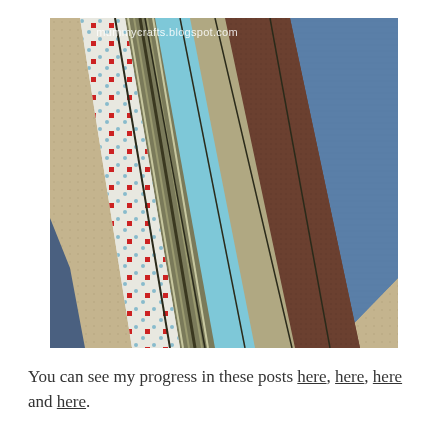[Figure (photo): A close-up photograph of quilt fabric strips laid out diagonally, showing various fabric patterns including a tan/beige grid pattern, a white fabric with red squares and blue dots, a striped olive/brown/cream fabric, a solid light blue fabric, a beige/taupe solid, a dark brown textured fabric, and a blue textured fabric. A watermark reads 'mummycrafts.blogspot.com' in the upper right corner.]
You can see my progress in these posts here, here, here and here.